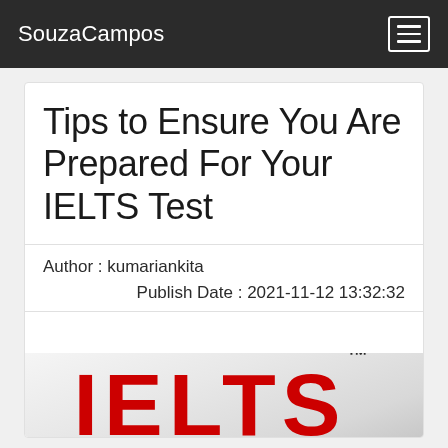SouzaCampos
Tips to Ensure You Are Prepared For Your IELTS Test
Author : kumariankita
Publish Date : 2021-11-12 13:32:32
[Figure (logo): IELTS logo in large red bold letters with TM trademark symbol]